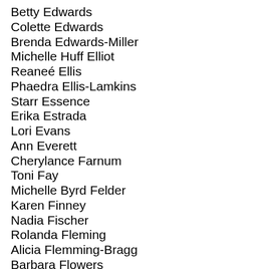Betty Edwards
Colette Edwards
Brenda Edwards-Miller
Michelle Huff Elliot
Reaneé Ellis
Phaedra Ellis-Lamkins
Starr Essence
Erika Estrada
Lori Evans
Ann Everett
Cherylance Farnum
Toni Fay
Michelle Byrd Felder
Karen Finney
Nadia Fischer
Rolanda Fleming
Alicia Flemming-Bragg
Barbara Flowers
Lisa Flowers
Lourdes Dolores Follins